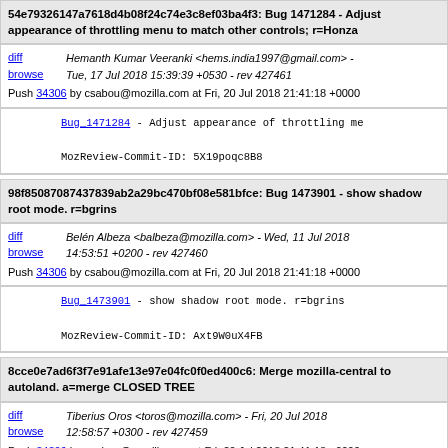54e79326147a7618d4b08f24c74e3c8ef03ba4f3: Bug 1471284 - Adjust appearance of throttling menu to match other controls; r=Honza
diff browse | Hemanth Kumar Veeranki <hems.india1997@gmail.com> - Tue, 17 Jul 2018 15:39:39 +0530 - rev 427461
Push 34306 by csabou@mozilla.com at Fri, 20 Jul 2018 21:41:18 +0000
Bug_1471284 - Adjust appearance of throttling me

MozReview-Commit-ID: 5X19poqc8B8
98f85087087437839ab2a29bc470bf08e581bfce: Bug 1473901 - show shadow root mode. r=bgrins
diff browse | Belén Albeza <balbeza@mozilla.com> - Wed, 11 Jul 2018 14:53:51 +0200 - rev 427460
Push 34306 by csabou@mozilla.com at Fri, 20 Jul 2018 21:41:18 +0000
Bug_1473901 - show shadow root mode. r=bgrins

MozReview-Commit-ID: Axt9W0uX4FB
8cce0e7ad6f3f7e91afe13e97e04fc0f0ed400c6: Merge mozilla-central to autoland. a=merge CLOSED TREE
diff browse | Tiberius Oros <toros@mozilla.com> - Fri, 20 Jul 2018 12:58:57 +0300 - rev 427459
Push 34306 by csabou@mozilla.com at Fri, 20 Jul 2018 21:41:18 +0000
Merge mozilla-central to autoland. a=merge CLOS